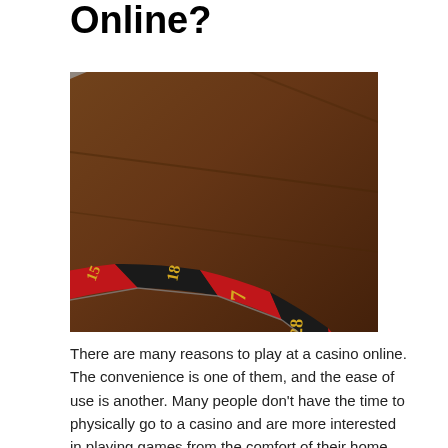Online?
[Figure (photo): Close-up photograph of a roulette wheel showing numbered red and black slots including numbers 7, 18, 28, 29 and others, positioned at an angle on a wooden table surface.]
There are many reasons to play at a casino online. The convenience is one of them, and the ease of use is another. Many people don't have the time to physically go to a casino and are more interested in playing games from the comfort of their home. Whether you want to try your luck at roulette or blackjack, live casinos can give you the experience